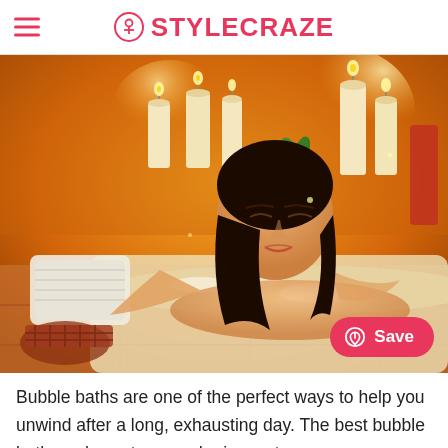STYLECRAZE
[Figure (photo): Woman relaxing in a bubble bath with candles in the background, eyes closed, resting on a white towel. Warm orange ambient lighting.]
Bubble baths are one of the perfect ways to help you unwind after a long, exhausting day. The best bubble baths reduce stress and rejuvenate your